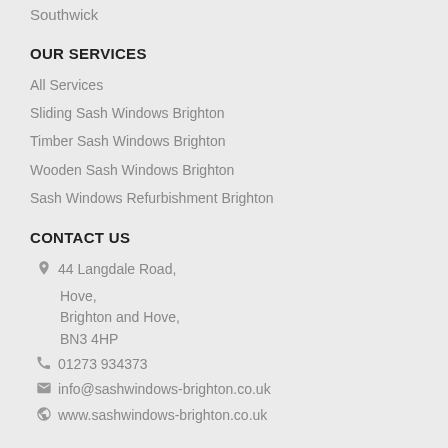Southwick
OUR SERVICES
All Services
Sliding Sash Windows Brighton
Timber Sash Windows Brighton
Wooden Sash Windows Brighton
Sash Windows Refurbishment Brighton
CONTACT US
44 Langdale Road,
Hove,
Brighton and Hove,
BN3 4HP
01273 934373
info@sashwindows-brighton.co.uk
www.sashwindows-brighton.co.uk